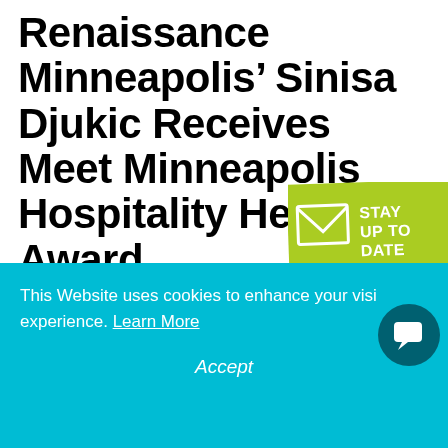Renaissance Minneapolis’ Sinisa Djukic Receives Meet Minneapolis Hospitality Hero Award
[Figure (infographic): Green badge/banner with envelope icon and text STAY UP TO DATE]
Sinisa Djukic, a banquet manager at the Renaissance Minneapolis
This Website uses cookies to enhance your visitor experience. Learn More
Accept